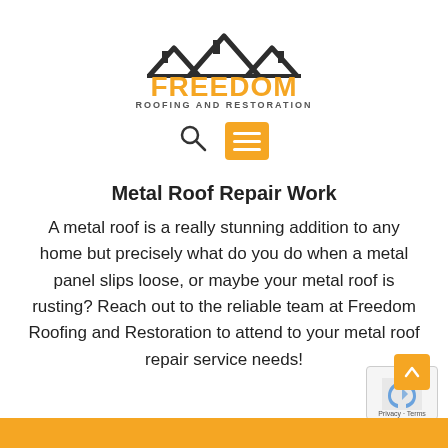[Figure (logo): Freedom Roofing and Restoration logo — house roof silhouette in dark gray/black above orange 'FREEDOM' text with 'ROOFING AND RESTORATION' beneath in dark gray]
[Figure (infographic): Navigation icons: search magnifying glass icon and orange hamburger menu button]
Metal Roof Repair Work
A metal roof is a really stunning addition to any home but precisely what do you do when a metal panel slips loose, or maybe your metal roof is rusting? Reach out to the reliable team at Freedom Roofing and Restoration to attend to your metal roof repair service needs!